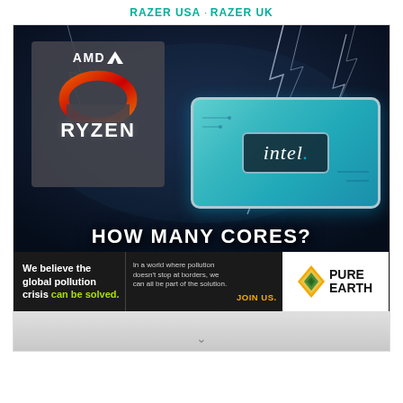RAZER USA · RAZER UK
[Figure (photo): Promotional image showing AMD Ryzen and Intel processor chip logos against a dark stormy lightning background, with the text 'HOW MANY CORES?' at the bottom in large white bold letters. Below the main image is a Pure Earth advertisement banner.]
We believe the global pollution crisis can be solved. In a world where pollution doesn't stop at borders, we can all be part of the solution. JOIN US.